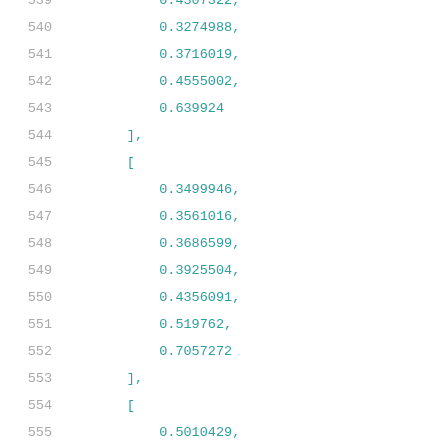Code listing showing numeric array values, lines 539-560
540    0.3274988,
541    0.3716019,
542    0.4555002,
543    0.639924
544  ],
545  [
546    0.3499946,
547    0.3561016,
548    0.3686599,
549    0.3925504,
550    0.4356091,
551    0.519762,
552    0.7057272
553  ],
554  [
555    0.5010429,
556    0.5070185,
557    0.5195705,
558    0.5434313,
559    0.5873272,
560    0.6714838,